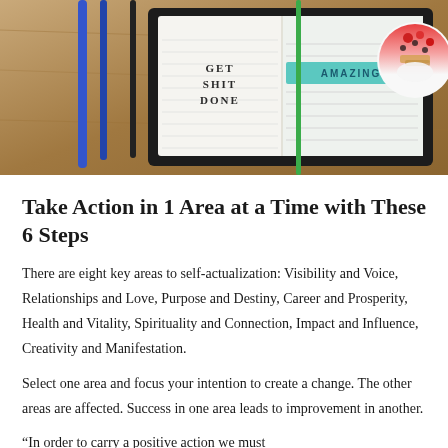[Figure (photo): Top-down photo of a wooden desk with a black notebook open showing 'GET SHIT DONE' on the left page and 'AMAZING' banner on the right page, blue and green pens laid out, and a bowl of fruit/granola in the upper right corner.]
Take Action in 1 Area at a Time with These 6 Steps
There are eight key areas to self-actualization: Visibility and Voice, Relationships and Love, Purpose and Destiny, Career and Prosperity, Health and Vitality, Spirituality and Connection, Impact and Influence, Creativity and Manifestation.
Select one area and focus your intention to create a change. The other areas are affected. Success in one area leads to improvement in another.
“In order to carry a positive action we must